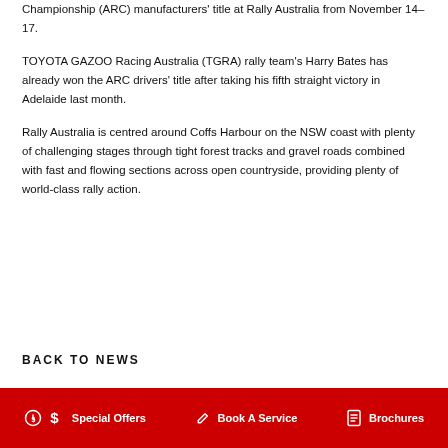Championship (ARC) manufacturers' title at Rally Australia from November 14-17.
TOYOTA GAZOO Racing Australia (TGRA) rally team's Harry Bates has already won the ARC drivers' title after taking his fifth straight victory in Adelaide last month.
Rally Australia is centred around Coffs Harbour on the NSW coast with plenty of challenging stages through tight forest tracks and gravel roads combined with fast and flowing sections across open countryside, providing plenty of world-class rally action.
BACK TO NEWS
Special Offers   Book A Service   Brochures